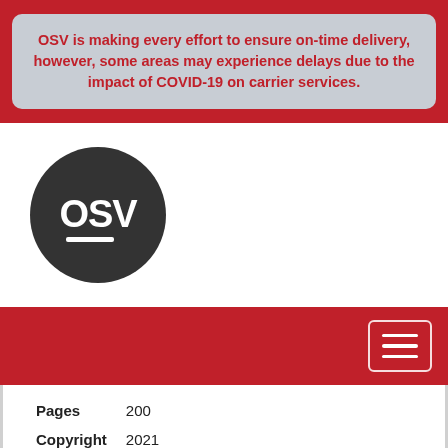OSV is making every effort to ensure on-time delivery, however, some areas may experience delays due to the impact of COVID-19 on carrier services.
[Figure (logo): OSV logo: dark circle with white bold text 'OSV' and white underline bar]
| Pages | 200 |
| Copyright | 2021 |
| ISBN | 978-1-68192-453-3 |
| Item | T2337 |